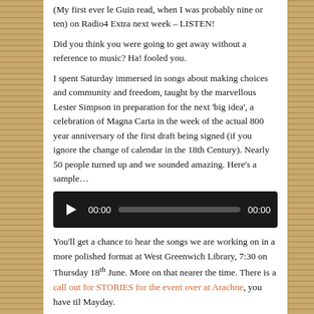(My first ever le Guin read, when I was probably nine or ten) on Radio4 Extra next week – LISTEN!
Did you think you were going to get away without a reference to music? Ha! fooled you.
I spent Saturday immersed in songs about making choices and community and freedom, taught by the marvellous Lester Simpson in preparation for the next 'big idea', a celebration of Magna Carta in the week of the actual 800 year anniversary of the first draft being signed (if you ignore the change of calendar in the 18th Century). Nearly 50 people turned up and we sounded amazing. Here's a sample…
[Figure (other): Audio player widget with play button, 00:00 time counter, progress bar, and end time 00:00, on dark background]
You'll get a chance to hear the songs we are working on in a more polished format at West Greenwich Library, 7:30 on Thursday 18th June. More on that nearer the time. There is a call out for STORIES for the event over at Arachne, you have til Mayday.